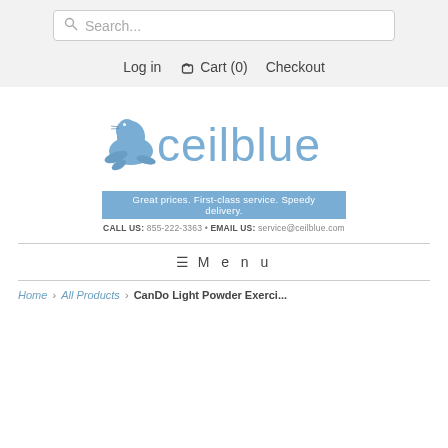Search...
Log in   Cart (0)   Checkout
[Figure (logo): Ceilblue logo with seal illustration, tagline 'Great prices. First-class service. Speedy delivery.', and contact info 'CALL US: 855-222-3363 • EMAIL US: service@ceilblue.com']
≡  Menu
Home › All Products › CanDo Light Powder Exerci...